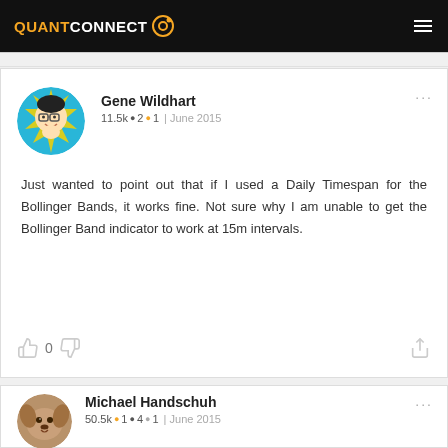QUANTCONNECT
Gene Wildhart
11.5k ●2 ●1 | June 2015
Just wanted to point out that if I used a Daily Timespan for the Bollinger Bands, it works fine. Not sure why I am unable to get the Bollinger Band indicator to work at 15m intervals.
Michael Handschuh
50.5k ●1 ●4 ●1 | June 2015